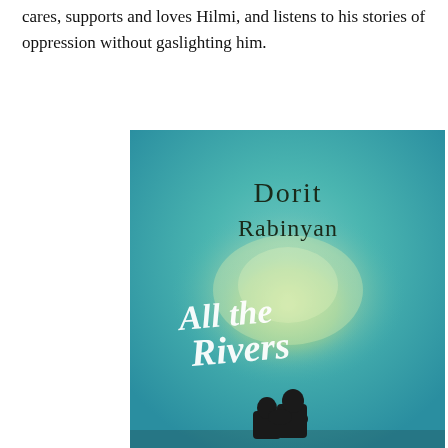cares, supports and loves Hilmi, and listens to his stories of oppression without gaslighting him.
[Figure (illustration): Book cover of 'All the Rivers' by Dorit Rabinyan. Teal and green watercolor background with silhouette of two people embracing at the bottom. Author name 'Dorit Rabinyan' in dark serif font at top, title 'All the Rivers' in white cursive script in the middle.]